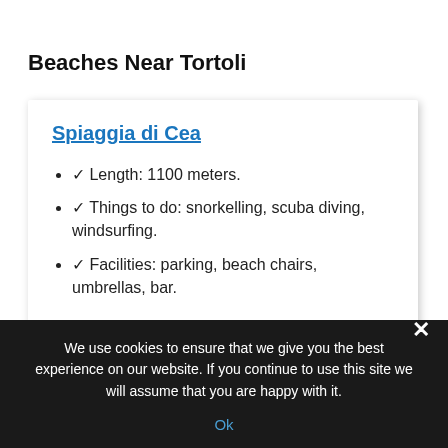Beaches Near Tortoli
Spiaggia di Cea
✓ Length: 1100 meters.
✓ Things to do: snorkelling, scuba diving, windsurfing.
✓ Facilities: parking, beach chairs, umbrellas, bar.
We use cookies to ensure that we give you the best experience on our website. If you continue to use this site we will assume that you are happy with it.
Ok